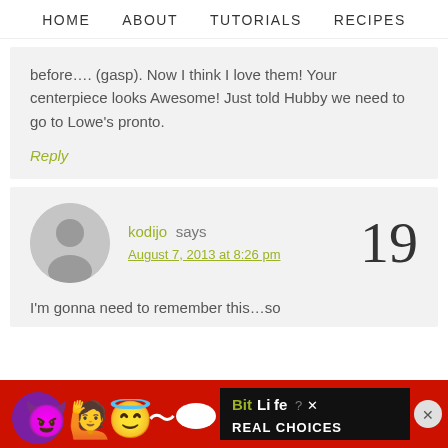HOME   ABOUT   TUTORIALS   RECIPES
before….(gasp). Now I think I love them! Your centerpiece looks Awesome! Just told Hubby we need to go to Lowe's pronto.
Reply
kodijo says August 7, 2013 at 8:26 pm  19
I'm gonna need to remember this…so